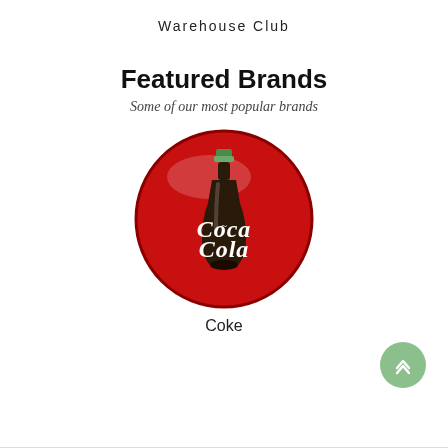Warehouse Club
Featured Brands
Some of our most popular brands
[Figure (logo): Coca-Cola round button logo: red circular badge with a Coca-Cola glass bottle and the Coca-Cola script wordmark in white, on a red background.]
Coke